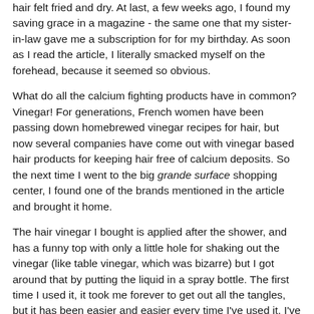hair felt fried and dry. At last, a few weeks ago, I found my saving grace in a magazine - the same one that my sister-in-law gave me a subscription for for my birthday. As soon as I read the article, I literally smacked myself on the forehead, because it seemed so obvious.
What do all the calcium fighting products have in common? Vinegar! For generations, French women have been passing down homebrewed vinegar recipes for hair, but now several companies have come out with vinegar based hair products for keeping hair free of calcium deposits. So the next time I went to the big grande surface shopping center, I found one of the brands mentioned in the article and brought it home.
The hair vinegar I bought is applied after the shower, and has a funny top with only a little hole for shaking out the vinegar (like table vinegar, which was bizarre) but I got around that by putting the liquid in a spray bottle. The first time I used it, it took me forever to get out all the tangles, but it has been easier and easier every time I've used it. I've been using it for a couple of weeks now, and my hair has never looked better (and it smells nice, too)! In fact, it's actually too soft... I'm going to start using it after every other